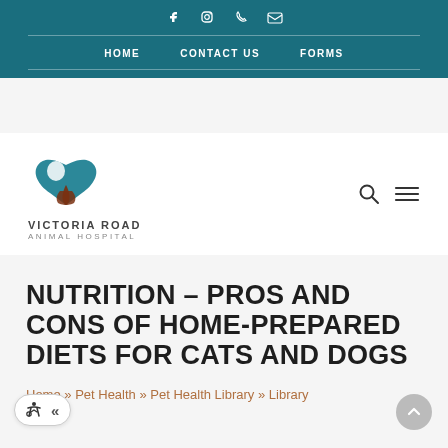f  Instagram  phone  email | HOME   CONTACT US   FORMS
[Figure (logo): Victoria Road Animal Hospital logo — teal and brown heart shape with cat and dog silhouettes, text VICTORIA ROAD ANIMAL HOSPITAL]
NUTRITION – PROS AND CONS OF HOME-PREPARED DIETS FOR CATS AND DOGS
Home » Pet Health » Pet Health Library » Library